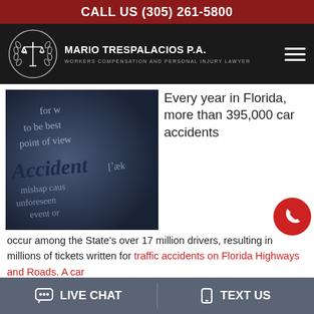CALL US (305) 261-5800
[Figure (logo): Mario Trespalacios P.A. law firm logo with scales of justice in circular wreath, white on dark background, with text MARIO TRESPALACIOS P.A. WORKERS COMPENSATION AND PERSONAL INJURY LAWYER]
[Figure (photo): Close-up photo of a dictionary page showing the word Accident in bold italic, with phonetic symbols and partial definition text including 'mishap caus', 'unforeseen', 'event or', 'for w', 'to be best', 'point of view'. Dark blue-tinted background.]
Every year in Florida, more than 395,000 car accidents occur among the State's over 17 million drivers, resulting in millions of tickets written for traffic accidents on Florida Highways and Roads. A car
LIVE CHAT    TEXT US